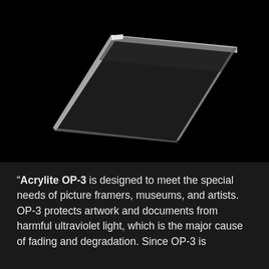[Figure (photo): A transparent acrylic sheet (Acrylite OP-3) photographed at an angle on a black background. The sheet has visible white/light edges and appears slightly tilted, showing its thickness. The overall image is dark with the sheet slightly reflective.]
"Acrylite OP-3 is designed to meet the special needs of picture framers, museums, and artists. OP-3 protects artwork and documents from harmful ultraviolet light, which is the major cause of fading and degradation. Since OP-3 is